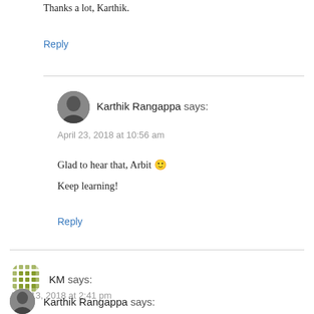Thanks a lot, Karthik.
Reply
Karthik Rangappa says:
April 23, 2018 at 10:56 am
Glad to hear that, Arbit 🙂
Keep learning!
Reply
KM says:
April 13, 2018 at 2:41 pm
Thanks prakash lekkala sir and karthik sir for your effort..
Reply
Karthik Rangappa says: